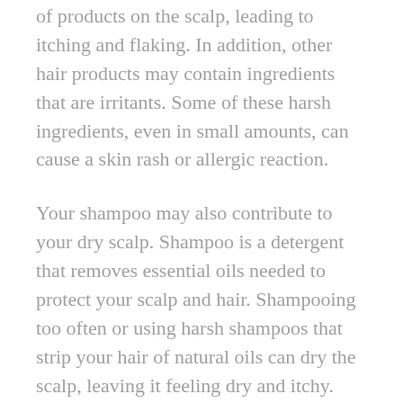of products on the scalp, leading to itching and flaking. In addition, other hair products may contain ingredients that are irritants. Some of these harsh ingredients, even in small amounts, can cause a skin rash or allergic reaction.
Your shampoo may also contribute to your dry scalp. Shampoo is a detergent that removes essential oils needed to protect your scalp and hair. Shampooing too often or using harsh shampoos that strip your hair of natural oils can dry the scalp, leaving it feeling dry and itchy.
Various ordinary situations may also cause